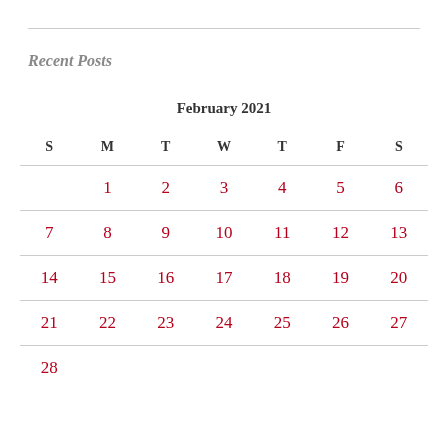Recent Posts
| S | M | T | W | T | F | S |
| --- | --- | --- | --- | --- | --- | --- |
|  | 1 | 2 | 3 | 4 | 5 | 6 |
| 7 | 8 | 9 | 10 | 11 | 12 | 13 |
| 14 | 15 | 16 | 17 | 18 | 19 | 20 |
| 21 | 22 | 23 | 24 | 25 | 26 | 27 |
| 28 |  |  |  |  |  |  |